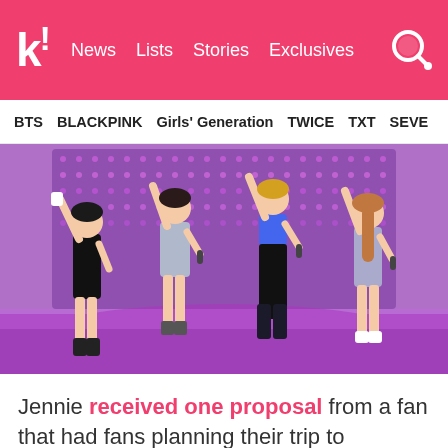k! News Lists Stories Exclusives
BTS  BLACKPINK  Girls' Generation  TWICE  TXT  SEVE
[Figure (photo): BLACKPINK four members performing on stage with pink/purple LED wall background, each member posing with arms raised]
Jennie received one proposal from a fan that had fans planning their trip to Tiffany's…